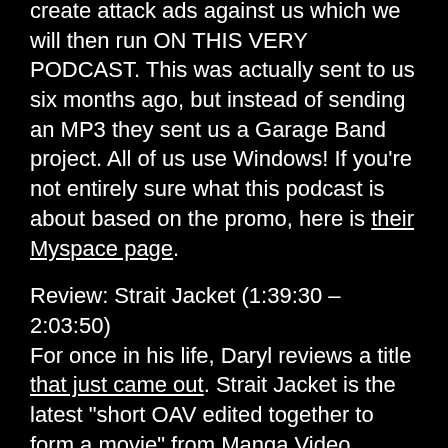create attack ads against us which we will then run ON THIS VERY PODCAST. This was actually sent to us six months ago, but instead of sending an MP3 they sent us a Garage Band project. All of us use Windows! If you're not entirely sure what this podcast is about based on the promo, here is their Myspace page.
Review: Strait Jacket (1:39:30 – 2:03:50)
For once in his life, Daryl reviews a title that just came out. Strait Jacket is the latest "short OAV edited together to form a movie" from Manga Video, which is quite the miracle considering that it's 2008 and OAVs are hardly made any more. Everything about this feels like a typical 90s OAV production, which in this day and age is like an oasis in the desert. This will be airing on the Sci-Fi Channel this month as part of their Ani-Monday programming block. Its running time is 75 minutes, and while we'd like to hope that means it'd air in a 90 minute block after commercials, based on what we just said in the news...